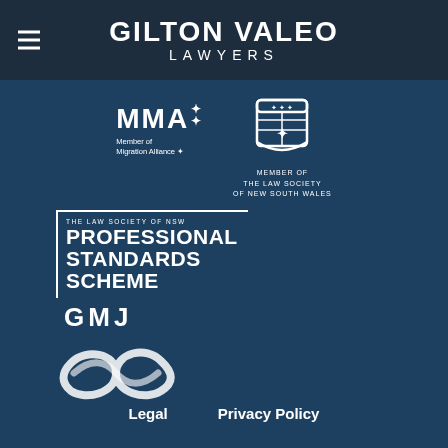[Figure (logo): Gilton Valeo Lawyers header logo with hamburger menu icon]
[Figure (logo): MMA Member of Migration Alliance logo — white text on teal background]
[Figure (logo): Member of The Law Society of New South Wales shield crest logo]
[Figure (logo): The Law Society of NSW Professional Standards Scheme bordered logo with GMJ text below]
[Figure (logo): Infinity symbol logo in white]
Legal   Privacy Policy